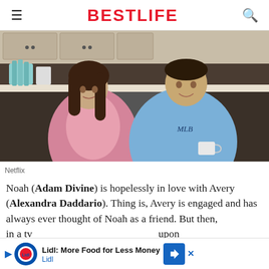BESTLIFE
[Figure (photo): Two actors in a kitchen scene — a woman in a pink robe and slip looking surprised, and a man in blue monogrammed pajamas holding a mug]
Netflix
Noah (Adam Divine) is hopelessly in love with Avery (Alexandra Daddario). Thing is, Avery is engaged and has always ever thought of Noah as a friend. But then, in a tv... upon a tim...
[Figure (other): Lidl advertisement banner: 'Lidl: More Food for Less Money' with Lidl logo and navigation icon]